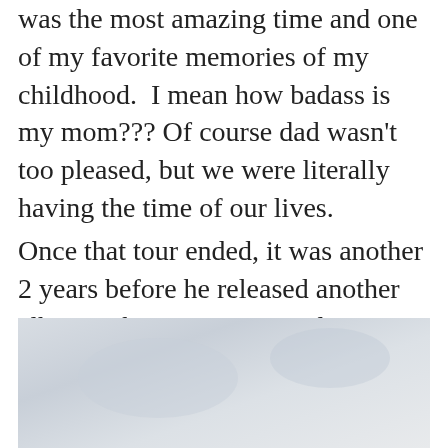was the most amazing time and one of my favorite memories of my childhood.  I mean how badass is my mom??? Of course dad wasn't too pleased, but we were literally having the time of our lives.
Once that tour ended, it was another 2 years before he released another album, where- you guessed it- we did the same damn thing 🙂
[Figure (photo): Partial photograph showing a cloudy sky, slightly cut off at the bottom of the page]